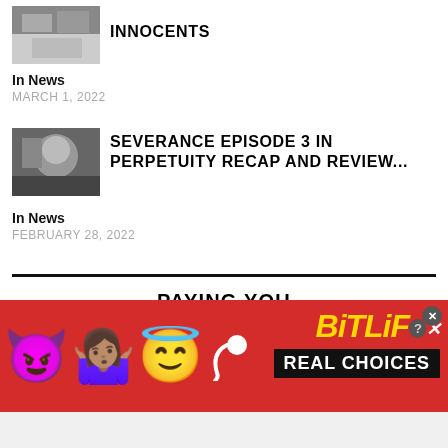[Figure (photo): Thumbnail image of a scene for Innocents article]
INNOCENTS
In News
MARCH 1, 2022
[Figure (photo): Thumbnail image of a scene for Severance episode article]
SEVERANCE EPISODE 3 IN PERPETUITY RECAP AND REVIEW...
In News
FEBRUARY 28, 2022
PAYING YOU
Submit Your Projects for Review
Write For Us
[Figure (infographic): BitLife advertisement banner with emoji characters (devil, person shrugging, angel, sperm) on red background with REAL CHOICES text]